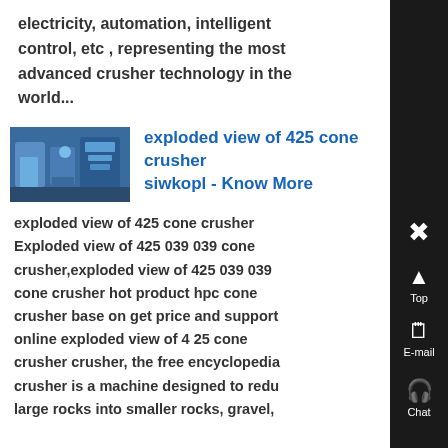electricity, automation, intelligent control, etc , representing the most advanced crusher technology in the world...
[Figure (photo): Thumbnail image of industrial cone crusher equipment, blue machinery in a warehouse setting]
exploded view of 425 cone crusher siwkopl - Know More
exploded view of 425 cone crusher Exploded view of 425 039 039 cone crusher,exploded view of 425 039 039 cone crusher hot product hpc cone crusher base on get price and support online exploded view of 4 25 cone crusher crusher, the free encyclopedia crusher is a machine designed to redu large rocks into smaller rocks, gravel,